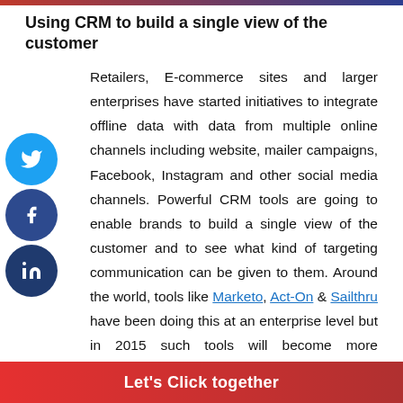Using CRM to build a single view of the customer
Retailers, E-commerce sites and larger enterprises have started initiatives to integrate offline data with data from multiple online channels including website, mailer campaigns, Facebook, Instagram and other social media channels. Powerful CRM tools are going to enable brands to build a single view of the customer and to see what kind of targeting communication can be given to them. Around the world, tools like Marketo, Act-On & Sailthru have been doing this at an enterprise level but in 2015 such tools will become more accessible to small and medium enterprises even in India.
Let's Click together